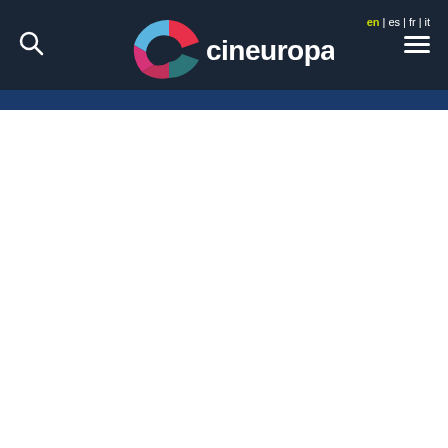Cineuropa navigation header with logo, search icon, language switcher (en | es | fr | it), and hamburger menu